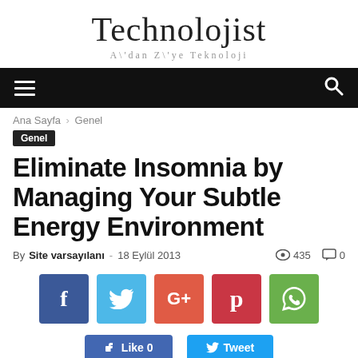Technolojist
A\'dan Z\'ye Teknoloji
Ana Sayfa › Genel
Genel
Eliminate Insomnia by Managing Your Subtle Energy Environment
By Site varsayılanı - 18 Eylül 2013   435   0
[Figure (infographic): Row of five social share buttons: Facebook (blue), Twitter (light blue), Google+ (red-orange), Pinterest (dark red), WhatsApp (green), followed by Like and Tweet buttons.]